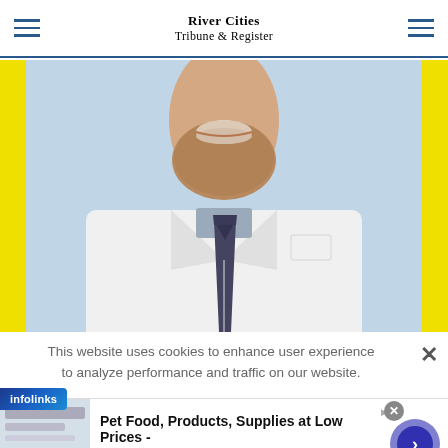River Cities Tribune & Register
[Figure (photo): Smiling male doctor/physician wearing a white lab coat and dark tie, shown from chest up, with light blue background. Yellow vertical bars frame the left and right sides of the photo.]
This website uses cookies to enhance user experience to analyze performance and traffic on our website.
[Figure (logo): Infolinks logo badge in blue gradient]
[Figure (infographic): Advertisement: Pet Food, Products, Supplies at Low Prices - Pay the lowest prices on pet supplies at Chewy.com. chewy.com]